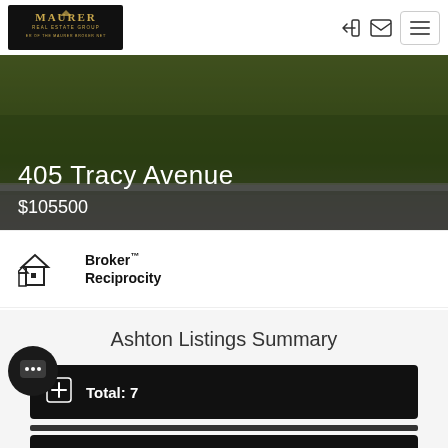[Figure (logo): Maurer Real Estate Group logo - dark background with gold text]
405 Tracy Avenue
$105500
[Figure (logo): Broker Reciprocity logo with house icon]
Ashton Listings Summary
Total: 7
New: 0